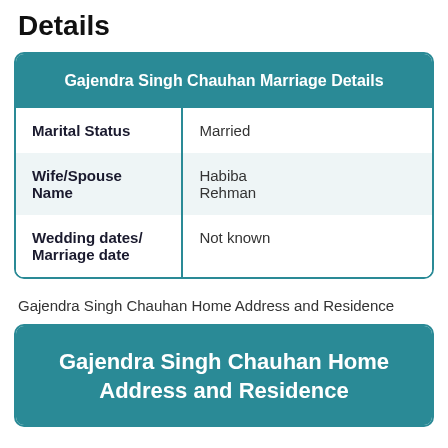Details
| Gajendra Singh Chauhan Marriage Details |  |
| --- | --- |
| Marital Status | Married |
| Wife/Spouse Name | Habiba Rehman |
| Wedding dates/ Marriage date | Not known |
Gajendra Singh Chauhan Home Address and Residence
Gajendra Singh Chauhan Home Address and Residence